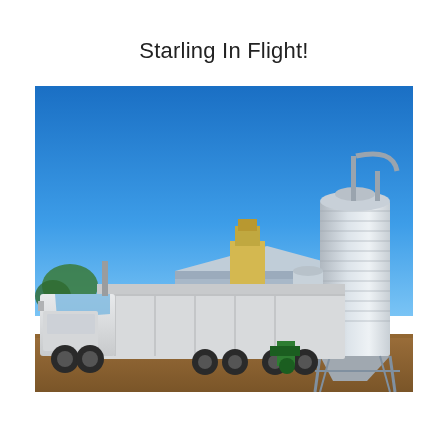Starling In Flight!
[Figure (photo): Outdoor farm scene with a large white semi-truck and trailer parked at a grain facility. Behind the truck is a metal agricultural building. On the right side stands a large corrugated metal grain silo with pipes and support structures. The sky is a vivid clear blue. The ground is dry dirt/gravel.]